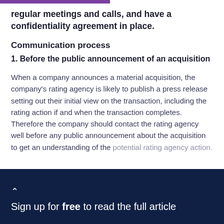regular meetings and calls, and have a confidentiality agreement in place.
Communication process
1. Before the public announcement of an acquisition
When a company announces a material acquisition, the company's rating agency is likely to publish a press release setting out their initial view on the transaction, including the rating action if and when the transaction completes. Therefore the company should contact the rating agency well before any public announcement about the acquisition to get an understanding of the potential rating agency action.
Sign up for free to read the full article